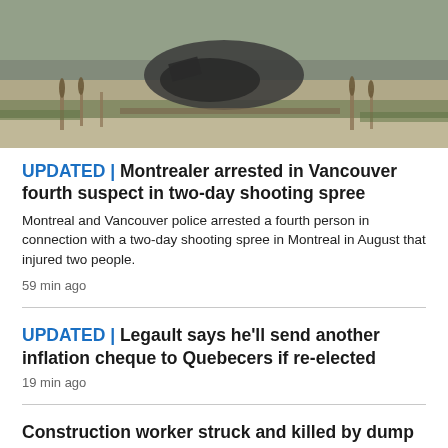[Figure (photo): Overhead photo of a vehicle crash or wreckage scene on a road, with debris scattered on dirt/gravel near vegetation]
UPDATED | Montrealer arrested in Vancouver fourth suspect in two-day shooting spree
Montreal and Vancouver police arrested a fourth person in connection with a two-day shooting spree in Montreal in August that injured two people.
59 min ago
UPDATED | Legault says he'll send another inflation cheque to Quebecers if re-elected
19 min ago
Construction worker struck and killed by dump truck west of Montreal
1 hr ago